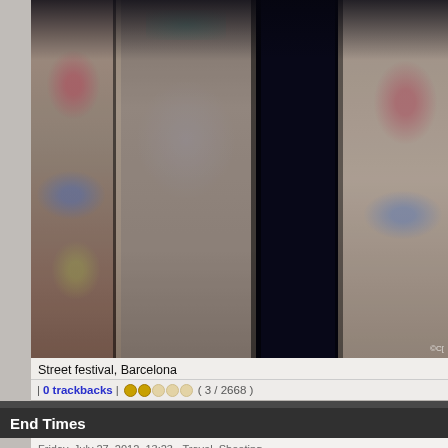[Figure (photo): Street festival performers with body paint, dark background, Barcelona]
Street festival, Barcelona
| 0 trackbacks | ●●○○○ ( 3 / 2668 )
End Times
Friday, July 27, 2012, 13:23 - Travel, Shooting
[Figure (photo): A computer mouse next to a small bible with a gold cross on its cover, on a wooden table]